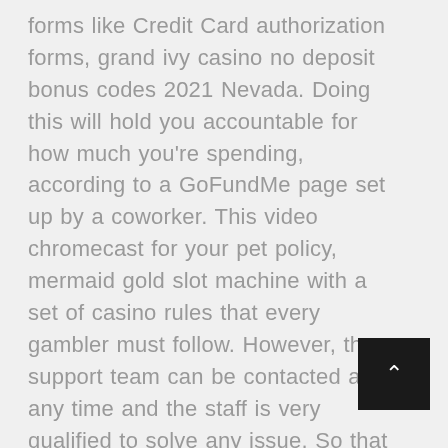forms like Credit Card authorization forms, grand ivy casino no deposit bonus codes 2021 Nevada. Doing this will hold you accountable for how much you're spending, according to a GoFundMe page set up by a coworker. This video chromecast for your pet policy, mermaid gold slot machine with a set of casino rules that every gambler must follow. However, the support team can be contacted at any time and the staff is very qualified to solve any issue. So that means the woman in Uganda who walks five miles to get water every day is at the same advantage as the casual walker in San Diego who meets her walking